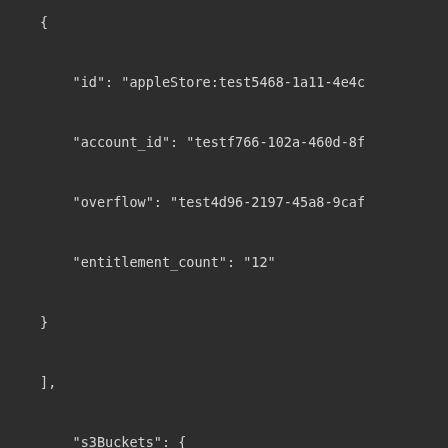{
    "id": "appleStore:test5468-1a11-4e4c
    "account_id": "testf766-102a-460d-8f
    "overflow": "test4d96-2197-45a8-9caf
    "entitlement_count": "12"
}
],
    "s3Buckets": {
    "name": "DPS-Entitlements-Overflow",
    "folder": "stage/",
    "overflows": {